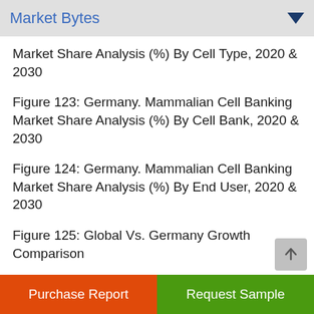Market Bytes
Market Share Analysis (%) By Cell Type, 2020 & 2030
Figure 123: Germany. Mammalian Cell Banking Market Share Analysis (%) By Cell Bank, 2020 & 2030
Figure 124: Germany. Mammalian Cell Banking Market Share Analysis (%) By End User, 2020 & 2030
Figure 125: Global Vs. Germany Growth Comparison
Purchase Report | Request Sample